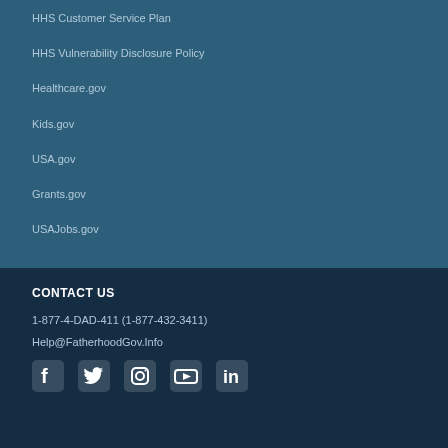HHS Customer Service Plan
HHS Vulnerability Disclosure Policy
Healthcare.gov
Kids.gov
USA.gov
Grants.gov
USAJobs.gov
CONTACT US
1-877-4-DAD-411 (1-877-432-3411)
Help@FatherhoodGov.Info
[Figure (infographic): Social media icons: Facebook, Twitter, Instagram, YouTube, LinkedIn]